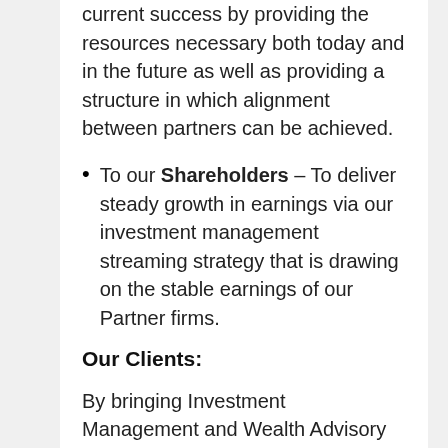current success by providing the resources necessary both today and in the future as well as providing a structure in which alignment between partners can be achieved.
To our Shareholders – To deliver steady growth in earnings via our investment management streaming strategy that is drawing on the stable earnings of our Partner firms.
Our Clients:
By bringing Investment Management and Wealth Advisory Partners together we simplify the structure that allows Investment Managers to deliver their services through their Wealth Advisory partners to the end client. This direct delivery model reduces the cost to the client providing them access to high quality investment management at a reasonable cost. Also, clients can benefit from the robust investment solutions that result from partners sharing their